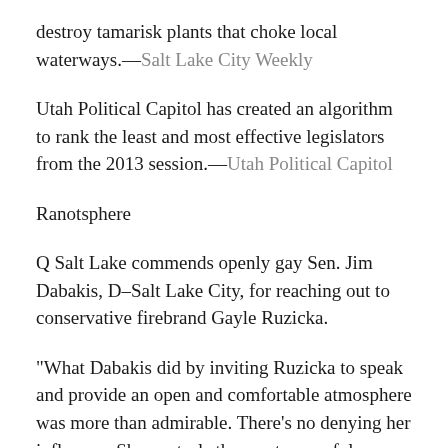destroy tamarisk plants that choke local waterways.—Salt Lake City Weekly
Utah Political Capitol has created an algorithm to rank the least and most effective legislators from the 2013 session.—Utah Political Capitol
Ranotsphere
Q Salt Lake commends openly gay Sen. Jim Dabakis, D–Salt Lake City, for reaching out to conservative firebrand Gayle Ruzicka.
“What Dabakis did by inviting Ruzicka to speak and provide an open and comfortable atmosphere was more than admirable. There’s no denying her influence. She controls the most powerful political-action group in the state and can have